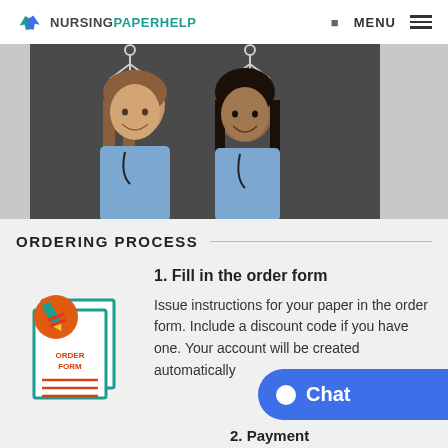NURSINGPAPERHELP — MENU
[Figure (photo): Two female nurses in blue scrubs with stethoscopes smiling, standing in front of a dark chalkboard with chalk-drawn figures above them.]
ORDERING PROCESS
[Figure (illustration): Illustration of an order form with a red pencil icon on an orange circle, teal-bordered documents labeled ORDER FORM with red lines.]
1. Fill in the order form
Issue instructions for your paper in the order form. Include a discount code if you have one. Your account will be created automatically
2. Payment